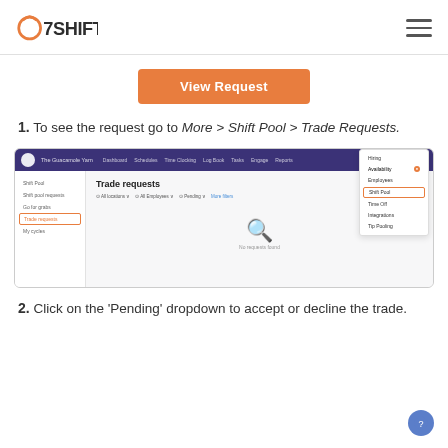7SHIFTS
[Figure (screenshot): Orange 'View Request' button]
1. To see the request go to More > Shift Pool > Trade Requests.
[Figure (screenshot): 7shifts app screenshot showing Trade requests page with More menu dropdown open, highlighting Shift Pool option]
2. Click on the 'Pending' dropdown to accept or decline the trade.